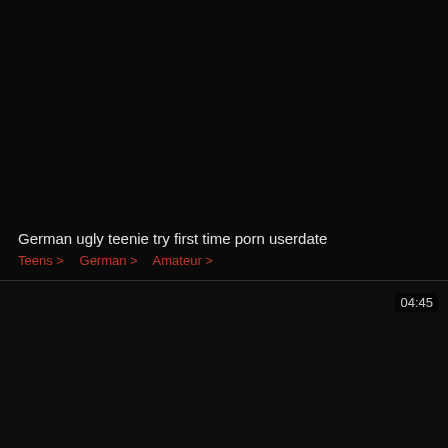[Figure (screenshot): Dark video thumbnail panel, mostly black]
German ugly teenie try first time porn userdate
Teens >   German >   Amateur >
[Figure (screenshot): Second dark video thumbnail panel with timestamp 04:45]
04:45